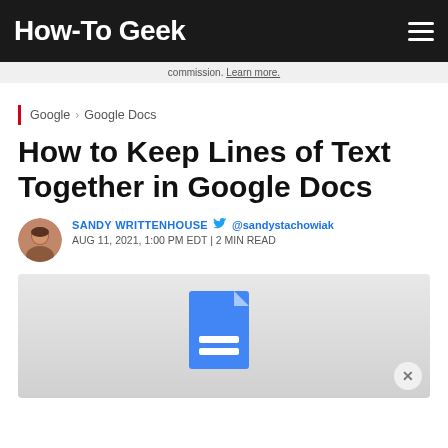How-To Geek
commission. Learn more.
Google › Google Docs
How to Keep Lines of Text Together in Google Docs
SANDY WRITTENHOUSE 🐦 @sandystachowiak
AUG 11, 2021, 1:00 PM EDT | 2 MIN READ
[Figure (illustration): Google Docs logo icon — blue document with folded corner and white horizontal lines, on a light gray background]